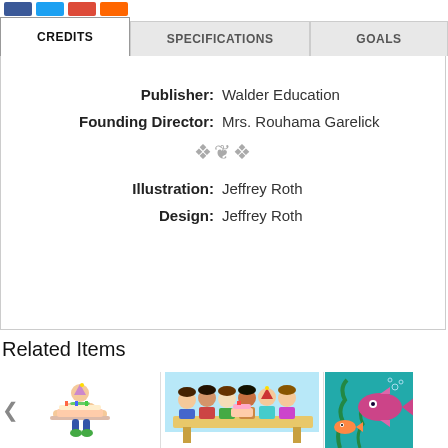Social share buttons (Facebook, Twitter, Google+, Email)
CREDITS | SPECIFICATIONS | GOALS
Publisher: Walder Education
Founding Director: Mrs. Rouhama Garelick
Illustration: Jeffrey Roth
Design: Jeffrey Roth
Related Items
[Figure (illustration): Cartoon child holding a birthday cake]
[Figure (illustration): Children sitting around a table at a birthday party]
[Figure (illustration): Colorful fish underwater scene]